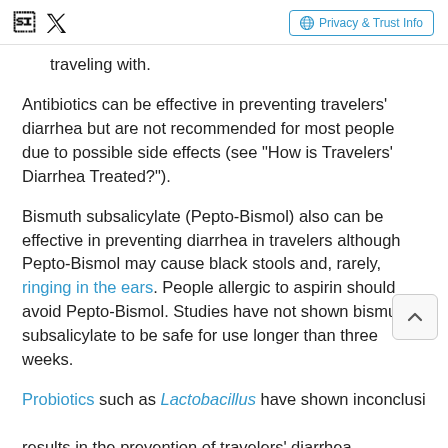Facebook Twitter | Privacy & Trust Info
traveling with.
Antibiotics can be effective in preventing travelers' diarrhea but are not recommended for most people due to possible side effects (see "How is Travelers' Diarrhea Treated?").
Bismuth subsalicylate (Pepto-Bismol) also can be effective in preventing diarrhea in travelers although Pepto-Bismol may cause black stools and, rarely, ringing in the ears. People allergic to aspirin should avoid Pepto-Bismol. Studies have not shown bismuth subsalicylate to be safe for use longer than three weeks.
Probiotics such as Lactobacillus have shown inconclusive results in the prevention of travelers' diarrhea.
ADVERTISEMENT